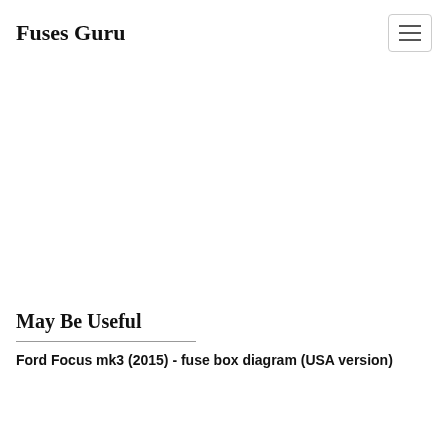Fuses Guru
May Be Useful
Ford Focus mk3 (2015) - fuse box diagram (USA version)